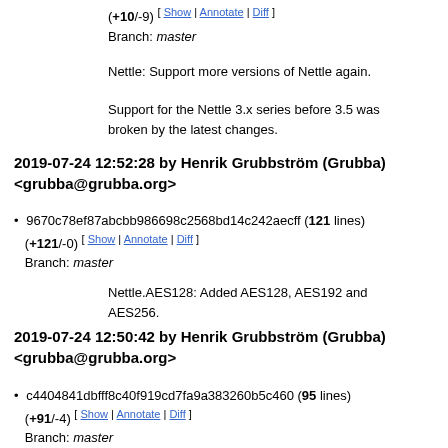(+10/-9) [ Show | Annotate | Diff ]
Branch: master
Nettle: Support more versions of Nettle again.
Support for the Nettle 3.x series before 3.5 was broken by the latest changes.
2019-07-24 12:52:28 by Henrik Grubbström (Grubba) <grubba@grubba.org>
9670c78ef87abcbb986698c2568bd14c242aecff (121 lines) (+121/-0) [ Show | Annotate | Diff ]
Branch: master
Nettle.AES128: Added AES128, AES192 and AES256.
2019-07-24 12:50:42 by Henrik Grubbström (Grubba) <grubba@grubba.org>
c4404841dbfff8c40f919cd7fa9a383260b5c460 (95 lines) (+91/-4) [ Show | Annotate | Diff ]
Branch: master